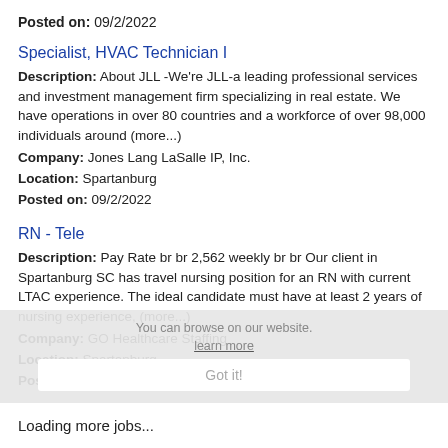Posted on: 09/2/2022
Specialist, HVAC Technician I
Description: About JLL -We're JLL-a leading professional services and investment management firm specializing in real estate. We have operations in over 80 countries and a workforce of over 98,000 individuals around (more...)
Company: Jones Lang LaSalle IP, Inc.
Location: Spartanburg
Posted on: 09/2/2022
RN - Tele
Description: Pay Rate br br 2,562 weekly br br Our client in Spartanburg SC has travel nursing position for an RN with current LTAC experience. The ideal candidate must have at least 2 years of nursing experience, (more...)
Company: GO Healthcare Staffing
Location: Spartanburg
Posted on: 09/2/2022
Loading more jobs...